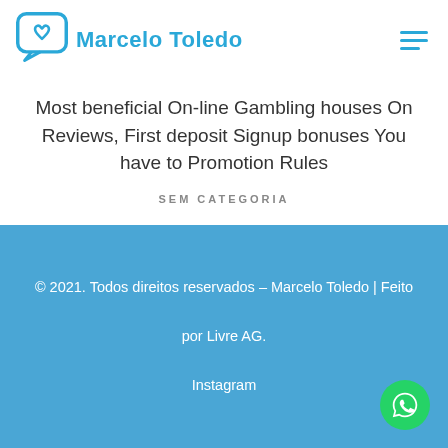Marcelo Toledo
Most beneficial On-line Gambling houses On Reviews, First deposit Signup bonuses You have to Promotion Rules
SEM CATEGORIA
© 2021. Todos direitos reservados – Marcelo Toledo | Feito por Livre AG.
Instagram